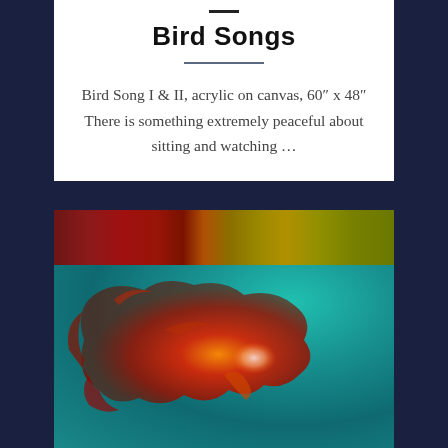Bird Songs
Bird Song I & II, acrylic on canvas, 60″ x 48″ There is something extremely peaceful about sitting and watching …
[Figure (illustration): Two-panel acrylic painting: top strip shows dark red and olive/yellow colors; bottom section shows a teal/turquoise background with a large red-orange organic paint shape resembling a bird or cloud form in the center, with white highlight areas.]